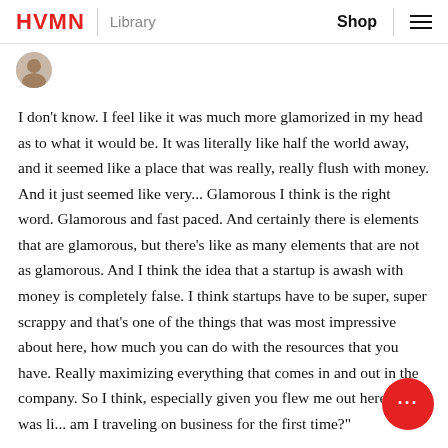HVMN | Library    Shop ≡
[Figure (photo): Small circular avatar image of a person]
I don't know. I feel like it was much more glamorized in my head as to what it would be. It was literally like half the world away, and it seemed like a place that was really, really flush with money. And it just seemed like very... Glamorous I think is the right word. Glamorous and fast paced. And certainly there is elements that are glamorous, but there's like as many elements that are not as glamorous. And I think the idea that a startup is awash with money is completely false. I think startups have to be super, super scrappy and that's one of the things that was most impressive about here, how much you can do with the resources that you have. Really maximizing everything that comes in and out in the company. So I think, especially given you flew me out here, and I was li... am I traveling on business for the first time?"